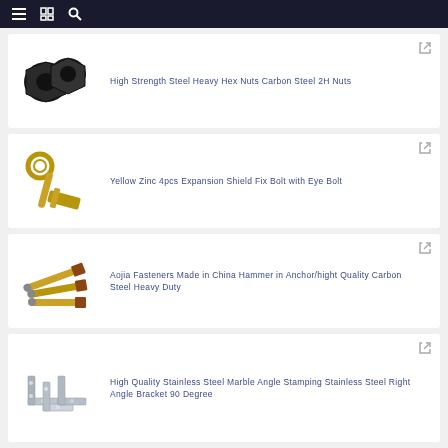Navigation bar with menu, catalog, and search icons
High Strength Steel Heavy Hex Nuts Carbon Steel 2H Nuts
Yellow Zinc 4pcs Expansion Shield Fix Bolt with Eye Bolt
Aojia Fasteners Made in China Hammer in Anchor/hight Quality Carbon Steel Heavy Duty
High Quality Stainless Steel Marble Angle Stamping Stainless Steel Right Angle Bracket 90 Degree